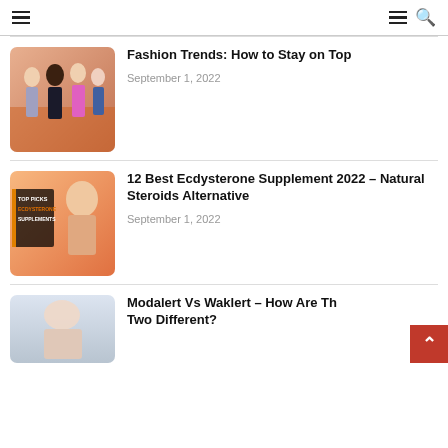≡  ≡ 🔍
[Figure (photo): Fashion photo showing multiple women in stylish outfits on an orange floral background]
Fashion Trends: How to Stay on Top
September 1, 2022
[Figure (photo): Muscular man holding supplements, with text overlay reading TOP PICKS ECDYSTERONE SUPPLEMENTS on orange background]
12 Best Ecdysterone Supplement 2022 – Natural Steroids Alternative
September 1, 2022
[Figure (photo): Partial photo of hands or body, partially visible at bottom of page]
Modalert Vs Waklert – How Are The Two Different?